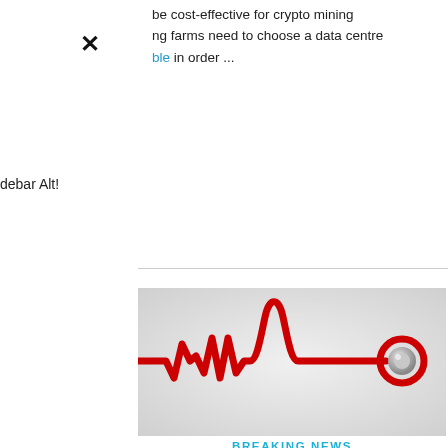be cost-effective for crypto mining farms need to choose a data centre ble in order ...
debar Alt!
[Figure (illustration): A red ECG/heartbeat line shaped as a stethoscope, with a stethoscope head at the right end, on a light grey gradient background.]
BREAKING NEWS